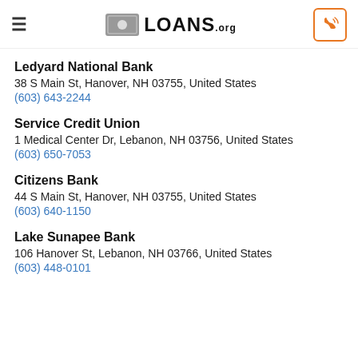LOANS.org
Ledyard National Bank
38 S Main St, Hanover, NH 03755, United States
(603) 643-2244
Service Credit Union
1 Medical Center Dr, Lebanon, NH 03756, United States
(603) 650-7053
Citizens Bank
44 S Main St, Hanover, NH 03755, United States
(603) 640-1150
Lake Sunapee Bank
106 Hanover St, Lebanon, NH 03766, United States
(603) 448-0101